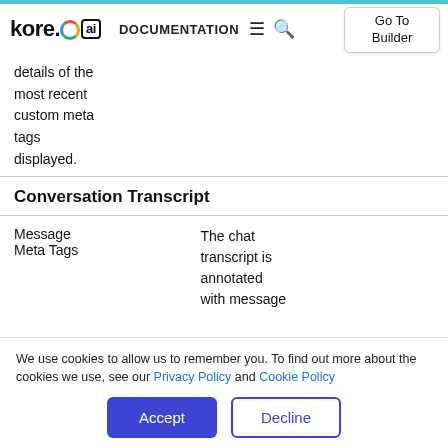kore.ai  DOCUMENTATION  Go To Builder
details of the most recent custom meta tags displayed.
Conversation Transcript
|  |  |
| --- | --- |
| Message Meta Tags | The chat transcript is annotated with message |
We use cookies to allow us to remember you. To find out more about the cookies we use, see our Privacy Policy and Cookie Policy
Accept  Decline